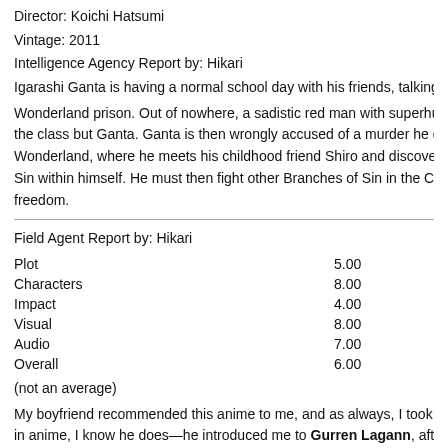Director: Koichi Hatsumi
Vintage: 2011
Intelligence Agency Report by: Hikari
Igarashi Ganta is having a normal school day with his friends, talking about Wonderland prison. Out of nowhere, a sadistic red man with superhuman powers kills the class but Ganta. Ganta is then wrongly accused of a murder he didn't commit and sent to Wonderland, where he meets his childhood friend Shiro and discovers a rare Branch of Sin within himself. He must then fight other Branches of Sin in the Carnival Corpse to earn freedom.
Field Agent Report by: Hikari
Plot    5.00
Characters    8.00
Impact    4.00
Visual    8.00
Audio    7.00
Overall    6.00
(not an average)
My boyfriend recommended this anime to me, and as always, I took his recommendation because I know he does—he introduced me to Gurren Lagann, after all—